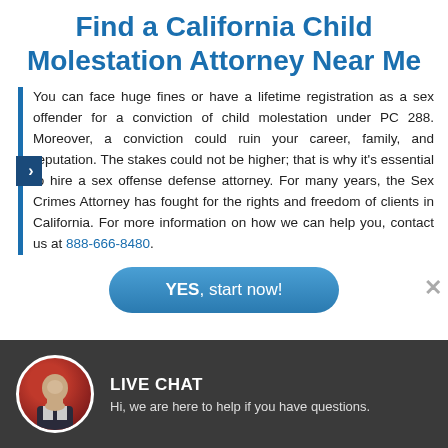Find a California Child Molestation Attorney Near Me
You can face huge fines or have a lifetime registration as a sex offender for a conviction of child molestation under PC 288. Moreover, a conviction could ruin your career, family, and reputation. The stakes could not be higher; that is why it's essential to hire a sex offense defense attorney. For many years, the Sex Crimes Attorney has fought for the rights and freedom of clients in California. For more information on how we can help you, contact us at 888-666-8480.
[Figure (screenshot): YES, start now! call-to-action button with rounded rectangle styling in blue gradient]
[Figure (photo): Live chat widget with avatar photo of a man in suit on dark gray background with text: LIVE CHAT - Hi, we are here to help if you have questions.]